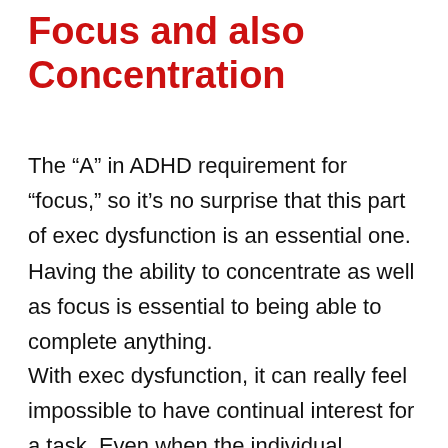Focus and also Concentration
The “A” in ADHD requirement for “focus,” so it’s no surprise that this part of exec dysfunction is an essential one. Having the ability to concentrate as well as focus is essential to being able to complete anything.
With exec dysfunction, it can really feel impossible to have continual interest for a task. Even when the individual attempts